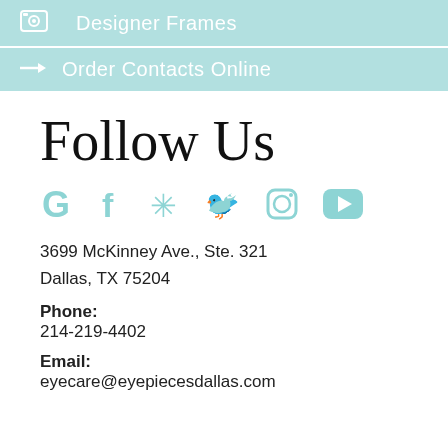Designer Frames
Order Contacts Online
Follow Us
[Figure (infographic): Social media icons: Google, Facebook, Yelp, Twitter, Instagram, YouTube — all in light teal color]
3699 McKinney Ave., Ste. 321
Dallas, TX 75204
Phone:
214-219-4402
Email:
eyecare@eyepiecesdallas.com